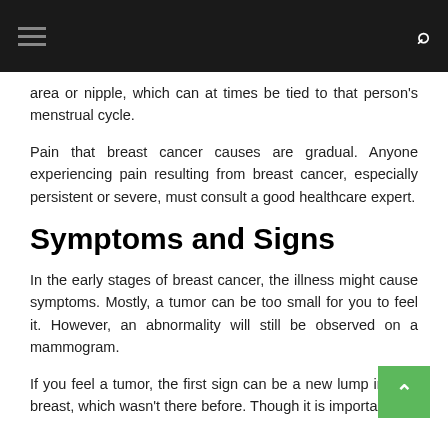area or nipple, which can at times be tied to that person's menstrual cycle.
Pain that breast cancer causes are gradual. Anyone experiencing pain resulting from breast cancer, especially persistent or severe, must consult a good healthcare expert.
Symptoms and Signs
In the early stages of breast cancer, the illness might cause symptoms. Mostly, a tumor can be too small for you to feel it. However, an abnormality will still be observed on a mammogram.
If you feel a tumor, the first sign can be a new lump in your breast, which wasn't there before. Though it is important